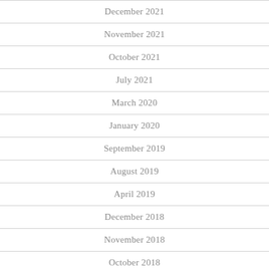December 2021
November 2021
October 2021
July 2021
March 2020
January 2020
September 2019
August 2019
April 2019
December 2018
November 2018
October 2018
August 2018